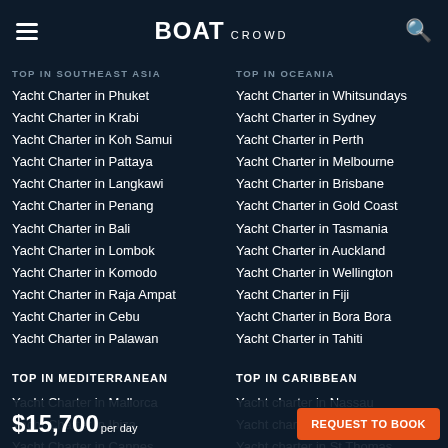BOAT CROWD
TOP IN SOUTHEAST ASIA
Yacht Charter in Phuket
Yacht Charter in Krabi
Yacht Charter in Koh Samui
Yacht Charter in Pattaya
Yacht Charter in Langkawi
Yacht Charter in Penang
Yacht Charter in Bali
Yacht Charter in Lombok
Yacht Charter in Komodo
Yacht Charter in Raja Ampat
Yacht Charter in Cebu
Yacht Charter in Palawan
TOP IN OCEANIA
Yacht Charter in Whitsundays
Yacht Charter in Sydney
Yacht Charter in Perth
Yacht Charter in Melbourne
Yacht Charter in Brisbane
Yacht Charter in Gold Coast
Yacht Charter in Tasmania
Yacht Charter in Auckland
Yacht Charter in Wellington
Yacht Charter in Fiji
Yacht Charter in Bora Bora
Yacht Charter in Tahiti
TOP IN MEDITERRANEAN
Yacht Charter in Mallorca
Yacht Charter in Ibiza
Yacht Charter in Cannes
Yacht Charter in Saint Tropez
Yacht Charter in Corsica
TOP IN CARIBBEAN
Yacht charter in Nassau
Yacht charter in Tortola
Yacht charter in St Thomas
Yacht charter in Simpson Bay
$15,700 per day
REQUEST TO BOOK